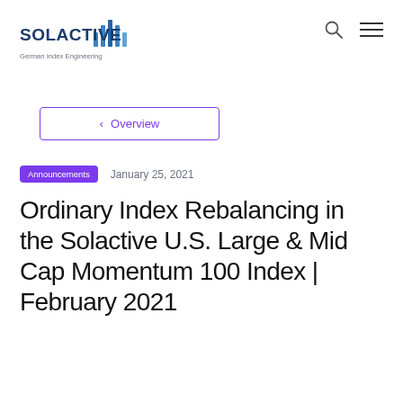SOLACTIVE — German Index Engineering
< Overview
Announcements   January 25, 2021
Ordinary Index Rebalancing in the Solactive U.S. Large & Mid Cap Momentum 100 Index | February 2021